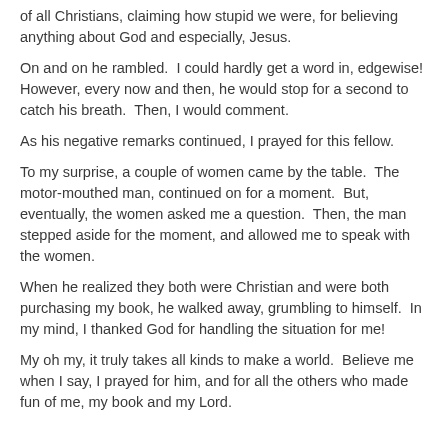of all Christians, claiming how stupid we were, for believing anything about God and especially, Jesus.
On and on he rambled.  I could hardly get a word in, edgewise!  However, every now and then, he would stop for a second to catch his breath.  Then, I would comment.
As his negative remarks continued, I prayed for this fellow.
To my surprise, a couple of women came by the table.  The motor-mouthed man, continued on for a moment.  But, eventually, the women asked me a question.  Then, the man stepped aside for the moment, and allowed me to speak with the women.
When he realized they both were Christian and were both purchasing my book, he walked away, grumbling to himself.  In my mind, I thanked God for handling the situation for me!
My oh my, it truly takes all kinds to make a world.  Believe me when I say, I prayed for him, and for all the others who made fun of me, my book and my Lord.